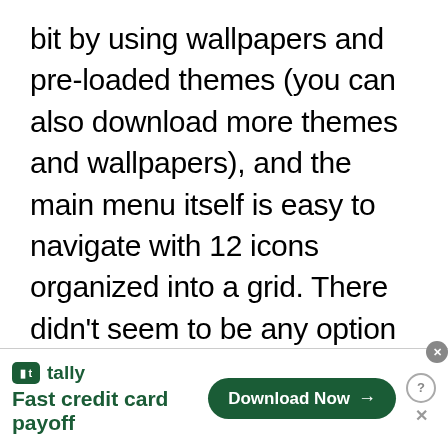bit by using wallpapers and pre-loaded themes (you can also download more themes and wallpapers), and the main menu itself is easy to navigate with 12 icons organized into a grid. There didn't seem to be any option available to change the main menu style. Otherwise the entire interface moves smoothly with no hitches or glitches and you can assign your shortcuts of choice with any of the four-way navigational keys.
[Figure (other): Advertisement banner for Tally app — 'Fast credit card payoff' with a 'Download Now' button]